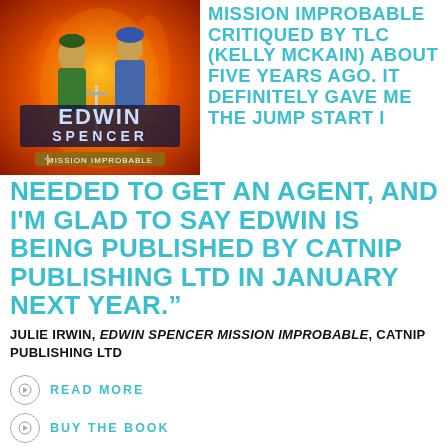[Figure (photo): Book cover of Edwin Spencer Mission Improbable showing two animated characters with swords on a fiery background]
MISSION IMPROBABLE CRITIQUED BY TLC (KELLY MCKAIN) ABOUT FIVE YEARS AGO. IT DEFINITELY GAVE ME THE JUMP START I NEEDED TO GET AN AGENT, AND I'M GLAD TO SAY EDWIN IS BEING PUBLISHED BY CATNIP PUBLISHING LTD IN JANUARY NEXT YEAR.”
JULIE IRWIN, EDWIN SPENCER MISSION IMPROBABLE, CATNIP PUBLISHING LTD
READ MORE
BUY THE BOOK